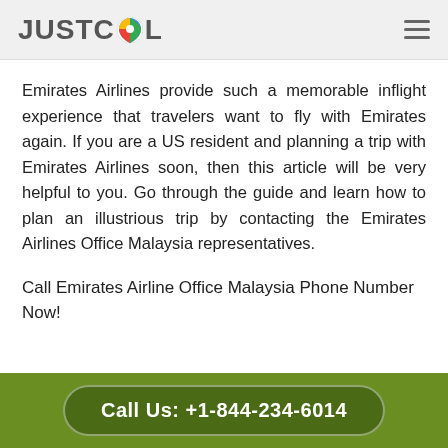JUSTCOL
Emirates Airlines provide such a memorable inflight experience that travelers want to fly with Emirates again. If you are a US resident and planning a trip with Emirates Airlines soon, then this article will be very helpful to you. Go through the guide and learn how to plan an illustrious trip by contacting the Emirates Airlines Office Malaysia representatives.
Call Emirates Airline Office Malaysia Phone Number Now!
Call Us: +1-844-234-6014